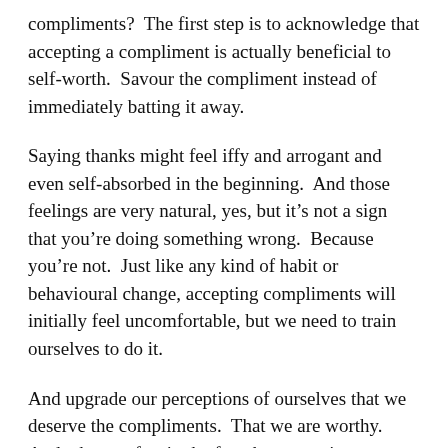compliments?  The first step is to acknowledge that accepting a compliment is actually beneficial to self-worth.  Savour the compliment instead of immediately batting it away.
Saying thanks might feel iffy and arrogant and even self-absorbed in the beginning.  And those feelings are very natural, yes, but it’s not a sign that you’re doing something wrong.  Because you’re not.  Just like any kind of habit or behavioural change, accepting compliments will initially feel uncomfortable, but we need to train ourselves to do it.
And upgrade our perceptions of ourselves that we deserve the compliments.  That we are worthy.  And take comfort in the fact that accepting compliments is beneficial for our emotional wellbeing.